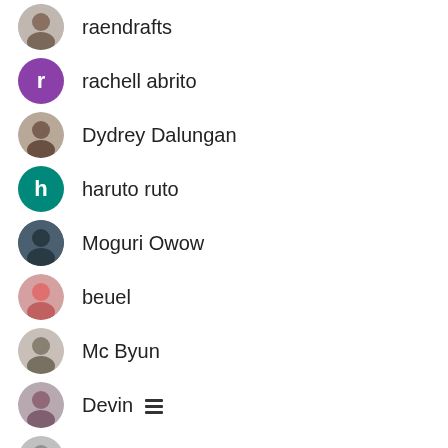raendrafts
rachell abrito
Dydrey Dalungan
haruto ruto
Moguri Owow
beuel
Mc Byun
Devin
Toxicaaa
Jessi Andrea
TheUnluckyRiego
Regine Dangculos
elvstarsier